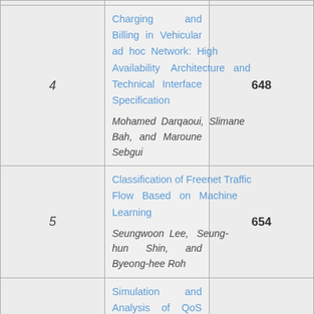| # | Title / Authors | Page |
| --- | --- | --- |
| 4 | Charging and Billing in Vehicular ad hoc Network: High Availability Architecture and Technical Interface Specification
Mohamed Darqaoui, Slimane Bah, and Maroune Sebgui | 648 |
| 5 | Classification of Freenet Traffic Flow Based on Machine Learning
Seungwoon Lee, Seung-hun Shin, and Byeong-hee Roh | 654 |
| 6 | Simulation and Analysis of QoS Video Conference through IMS Interworking Network – UMTS
Haider M. Turki AL Hilfi and | 661 |